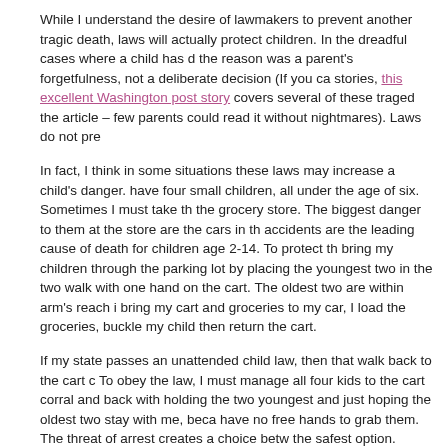While I understand the desire of lawmakers to prevent another tragic death, laws will actually protect children. In the dreadful cases where a child has died, the reason was a parent's forgetfulness, not a deliberate decision (If you can find stories, this excellent Washington post story covers several of these tragedies – the article – few parents could read it without nightmares). Laws do not pre…
In fact, I think in some situations these laws may increase a child's danger. I have four small children, all under the age of six. Sometimes I must take them to the grocery store. The biggest danger to them at the store are the cars in the lot – accidents are the leading cause of death for children age 2-14. To protect them, I bring my children through the parking lot by placing the youngest two in the cart; the two walk with one hand on the cart. The oldest two are within arm's reach if needed. I bring my cart and groceries to my car, I load the groceries, buckle my children in, then return the cart.
If my state passes an unattended child law, then that walk back to the cart corral. To obey the law, I must manage all four kids to the cart corral and back with me, holding the two youngest and just hoping the oldest two stay with me, because I have no free hands to grab them. The threat of arrest creates a choice between breaking the law and taking the safest option.
That is not a choice I should have to make.